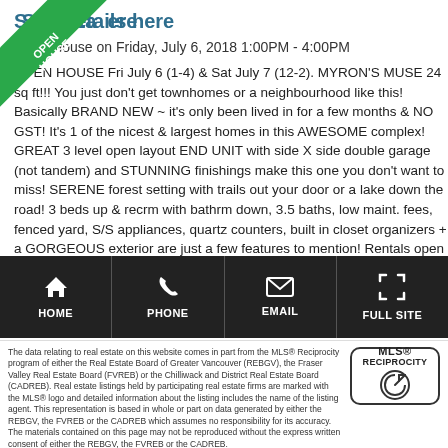See details here
Open House on Friday, July 6, 2018 1:00PM - 4:00PM
OPEN HOUSE Fri July 6 (1-4) & Sat July 7 (12-2). MYRON'S MUSE 24 sq ft!!! You just don't get townhomes or a neighbourhood like this! Basically BRAND NEW ~ it's only been lived in for a few months & NO GST! It's 1 of the nicest & largest homes in this AWESOME complex! GREAT 3 level open layout END UNIT with side X side double garage (not tandem) and STUNNING finishings make this one you don't want to miss! SERENE forest setting with trails out your door or a lake down the road! 3 beds up & recrm with bathrm down, 3.5 baths, low maint. fees, fenced yard, S/S appliances, quartz counters, built in closet organizers + a GORGEOUS exterior are just a few features to mention! Rentals open & 2 dogs & 2 cats allowed. You want to view this one QUICK! Immediate possession!
[Figure (infographic): Navigation bar with HOME, PHONE, EMAIL, FULL SITE icons on dark background]
The data relating to real estate on this website comes in part from the MLS® Reciprocity program of either the Real Estate Board of Greater Vancouver (REBGV), the Fraser Valley Real Estate Board (FVREB) or the Chilliwack and District Real Estate Board (CADREB). Real estate listings held by participating real estate firms are marked with the MLS® logo and detailed information about the listing includes the name of the listing agent. This representation is based in whole or part on data generated by either the REBGV, the FVREB or the CADREB which assumes no responsibility for its accuracy. The materials contained on this page may not be reproduced without the express written consent of either the REBGV, the FVREB or the CADREB.